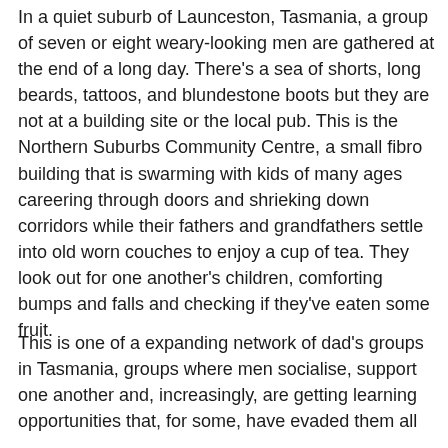In a quiet suburb of Launceston, Tasmania, a group of seven or eight weary-looking men are gathered at the end of a long day. There's a sea of shorts, long beards, tattoos, and blundestone boots but they are not at a building site or the local pub. This is the Northern Suburbs Community Centre, a small fibro building that is swarming with kids of many ages careering through doors and shrieking down corridors while their fathers and grandfathers settle into old worn couches to enjoy a cup of tea. They look out for one another's children, comforting bumps and falls and checking if they've eaten some fruit.
This is one of a expanding network of dad's groups in Tasmania, groups where men socialise, support one another and, increasingly, are getting learning opportunities that, for some, have evaded them all